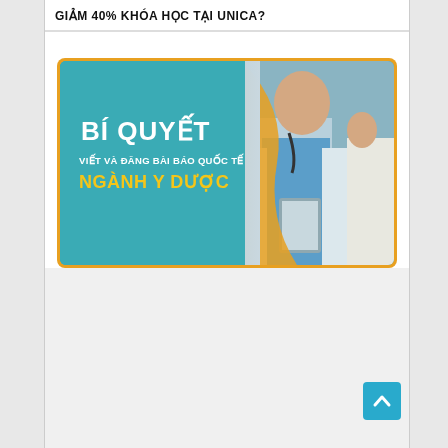GIẢM 40% KHÓA HỌC TẠI UNICA?
[Figure (illustration): Promotional banner image showing a medical professional in blue scrubs holding a clipboard/tablet, with teal background on left and a photo of a doctor on the right. Text overlay reads 'BÍ QUYẾT VIẾT VÀ ĐĂNG BÀI BÁO QUỐC TẾ NGÀNH Y DƯỢC' with golden color for 'NGÀNH Y DƯỢC']